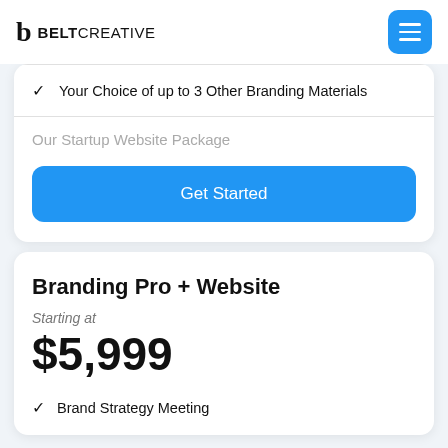BELTCREATIVE
Your Choice of up to 3 Other Branding Materials
Our Startup Website Package
Get Started
Branding Pro + Website
Starting at
$5,999
Brand Strategy Meeting